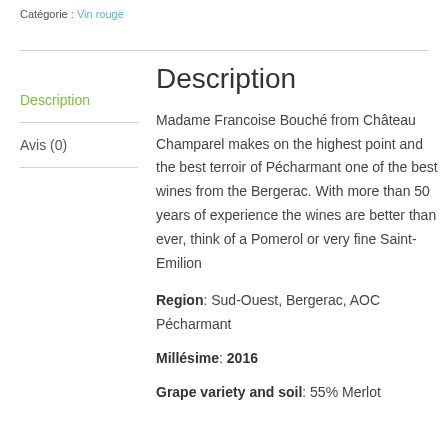Catégorie : Vin rouge
Description
Avis (0)
Description
Madame Francoise Bouché from Château Champarel makes on the highest point and the best terroir of Pécharmant one of the best wines from the Bergerac. With more than 50 years of experience the wines are better than ever, think of a Pomerol or very fine Saint-Emilion
Region: Sud-Ouest, Bergerac, AOC Pécharmant
Millésime: 2016
Grape variety and soil: 55% Merlot